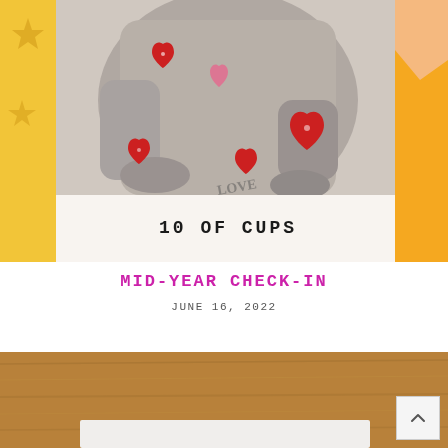[Figure (photo): A tarot card photograph showing the 10 of Cups card — a black and white image of a person's torso wearing a knit sweater, with red hearts hand-drawn on the card. The card has a cream/white border at the bottom with '10 OF CUPS' printed in bold dark text. The card is surrounded by colorful background papers (yellow with stars, pink/peach shapes). This is a handmade or artistic tarot deck.]
MID-YEAR CHECK-IN
JUNE 16, 2022
[Figure (photo): Partial view of a second image showing a wooden table surface with what appears to be a white paper or card at the bottom of the frame, partially cut off.]